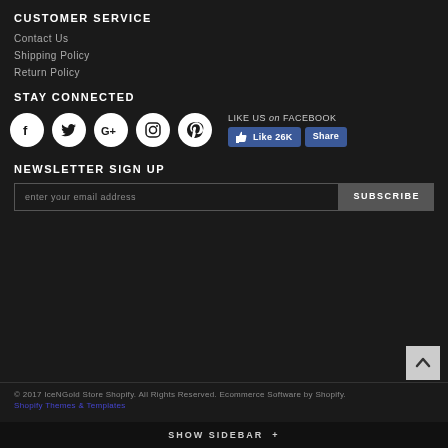CUSTOMER SERVICE
Contact Us
Shipping Policy
Return Policy
STAY CONNECTED
[Figure (infographic): Social media icons (Facebook, Twitter, Google+, Instagram, Pinterest) as white circles on dark background, plus Facebook Like 26K and Share buttons]
NEWSLETTER SIGN UP
[Figure (screenshot): Email input field with placeholder 'enter your email address' and SUBSCRIBE button]
© 2017 IceNGold Store Shopify. All Rights Reserved. Ecommerce Software by Shopify.
SHOW SIDEBAR +